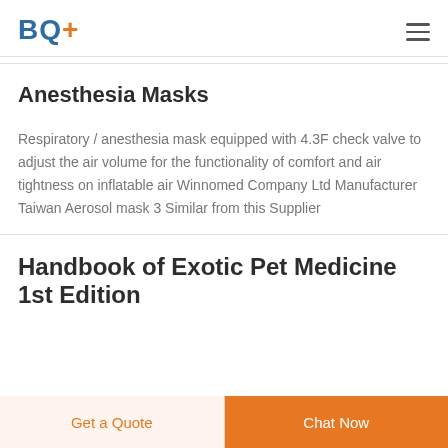BQ+
Anesthesia Masks
Respiratory / anesthesia mask equipped with 4.3F check valve to adjust the air volume for the functionality of comfort and air tightness on inflatable air Winnomed Company Ltd Manufacturer Taiwan Aerosol mask 3 Similar from this Supplier
Handbook of Exotic Pet Medicine 1st Edition